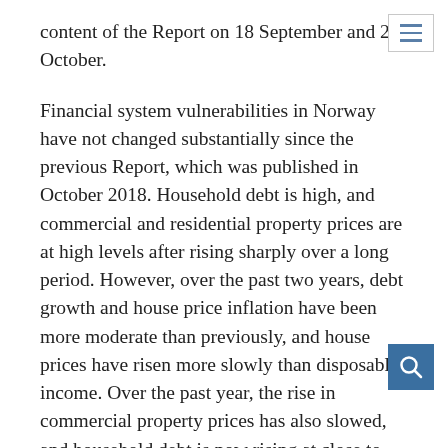content of the Report on 18 September and 23 October.
Financial system vulnerabilities in Norway have not changed substantially since the previous Report, which was published in October 2018. Household debt is high, and commercial and residential property prices are at high levels after rising sharply over a long period. However, over the past two years, debt growth and house price inflation have been more moderate than previously, and house prices have risen more slowly than disposable income. Over the past year, the rise in commercial property prices has also slowed, and household debt is now rising at close to the same rate as disposable income. Norwegian banks have maintained profitability and solvency and continue to have ample access to funding.
Global economic uncertainty poses a risk to financial